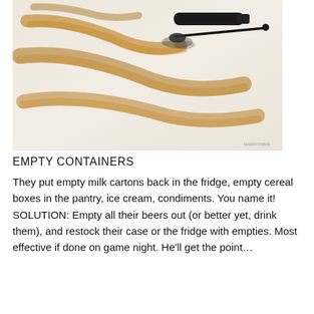[Figure (photo): A photo showing mascara smear marks (brownish-orange streaks) on a light fabric surface, with a mascara tube and wand brush lying on the surface.]
EMPTY CONTAINERS
They put empty milk cartons back in the fridge, empty cereal boxes in the pantry, ice cream, condiments. You name it!
SOLUTION: Empty all their beers out (or better yet, drink them), and restock their case or the fridge with empties. Most effective if done on game night. He'll get the point… for the…